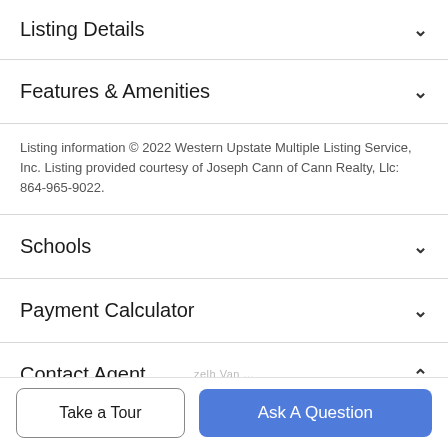Listing Details
Features & Amenities
Listing information © 2022 Western Upstate Multiple Listing Service, Inc. Listing provided courtesy of Joseph Cann of Cann Realty, Llc: 864-965-9022.
Schools
Payment Calculator
Contact Agent
[Figure (photo): Circular agent profile photo]
Take a Tour
Ask A Question